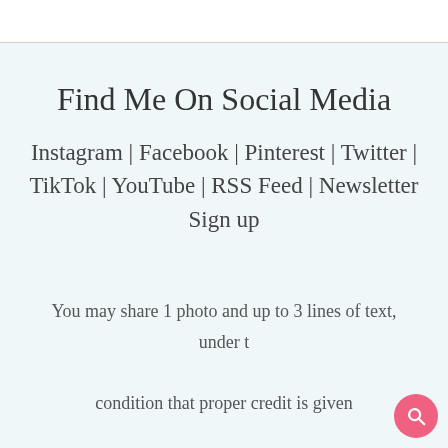Find Me On Social Media
Instagram | Facebook | Pinterest | Twitter | TikTok | YouTube | RSS Feed | Newsletter Sign up
You may share 1 photo and up to 3 lines of text, under the condition that proper credit is given to scatteredthoughtsofacraftymom.com. (Must be a